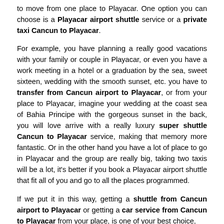to move from one place to Playacar. One option you can choose is a Playacar airport shuttle service or a private taxi Cancun to Playacar.
For example, you have planning a really good vacations with your family or couple in Playacar, or even you have a work meeting in a hotel or a graduation by the sea, sweet sixteen, wedding with the smooth sunset, etc. you have to transfer from Cancun airport to Playacar, or from your place to Playacar, imagine your wedding at the coast sea of Bahia Principe with the gorgeous sunset in the back, you will love arrive with a really luxury super shuttle Cancun to Playacar service, making that memory more fantastic. Or in the other hand you have a lot of place to go in Playacar and the group are really big, taking two taxis will be a lot, it's better if you book a Playacar airport shuttle that fit all of you and go to all the places programmed.
If we put it in this way, getting a shuttle from Cancun airport to Playacar or getting a car service from Cancun to Playacar from your place, is one of your best choice,